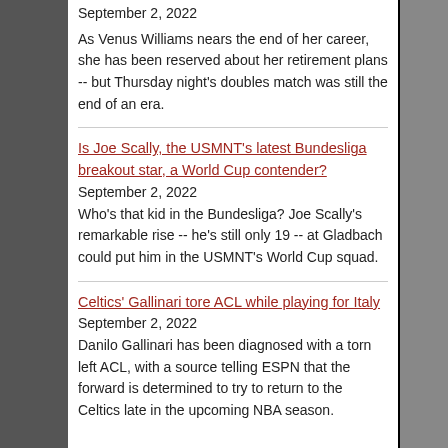September 2, 2022
As Venus Williams nears the end of her career, she has been reserved about her retirement plans -- but Thursday night's doubles match was still the end of an era.
Is Joe Scally, the USMNT’s latest Bundesliga breakout star, a World Cup contender? September 2, 2022
Who’s that kid in the Bundesliga? Joe Scally’s remarkable rise -- he’s still only 19 -- at Gladbach could put him in the USMNT’s World Cup squad.
Celtics’ Gallinari tore ACL while playing for Italy
September 2, 2022
Danilo Gallinari has been diagnosed with a torn left ACL, with a source telling ESPN that the forward is determined to try to return to the Celtics late in the upcoming NBA season.